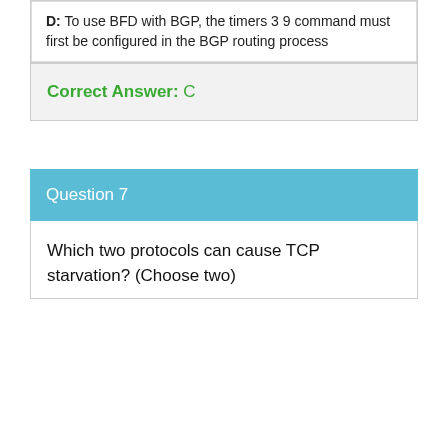D: To use BFD with BGP, the timers 3 9 command must first be configured in the BGP routing process
Correct Answer: C
Question 7
Which two protocols can cause TCP starvation? (Choose two)